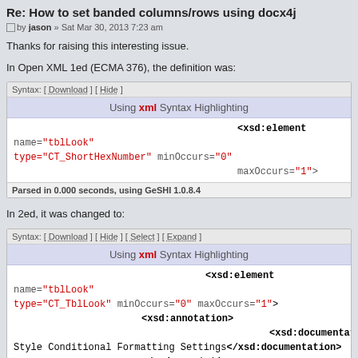Re: How to set banded columns/rows using docx4j
by jason » Sat Mar 30, 2013 7:23 am
Thanks for raising this interesting issue.
In Open XML 1ed (ECMA 376), the definition was:
[Figure (screenshot): Code box with XML syntax highlighting. Toolbar: Syntax: [ Download ] [ Hide ]. Header: Using xml Syntax Highlighting. Code: <xsd:element name="tblLook" type="CT_ShortHexNumber" minOccurs="0" maxOccurs="1">. Footer: Parsed in 0.000 seconds, using GeSHI 1.0.8.4]
In 2ed, it was changed to:
[Figure (screenshot): Code box with XML syntax highlighting. Toolbar: Syntax: [ Download ] [ Hide ] [ Select ] [ Expand ]. Header: Using xml Syntax Highlighting. Code: <xsd:element name="tblLook" type="CT_TblLook" minOccurs="0" maxOccurs="1"> <xsd:annotation> <xsd:documentation>Table Style Conditional Formatting Settings</xsd:documentation> </xsd:annotation>]